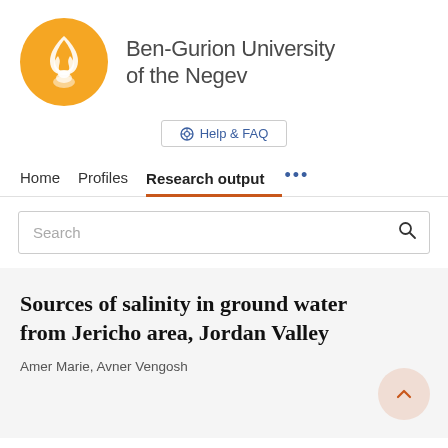[Figure (logo): Ben-Gurion University of the Negev logo: orange circle with white flame/person icon]
Ben-Gurion University of the Negev
Help & FAQ
Home   Profiles   Research output   ...
Search
Sources of salinity in ground water from Jericho area, Jordan Valley
Amer Marie, Avner Vengosh